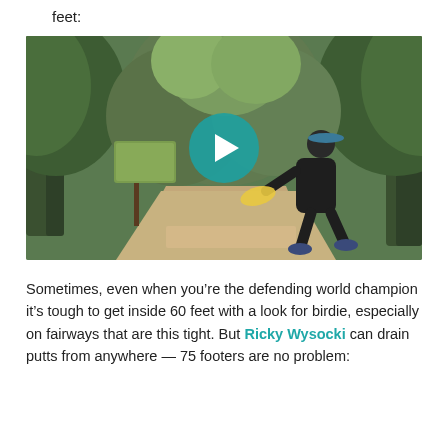feet:
[Figure (screenshot): Video thumbnail showing a woman playing disc golf on a wooded course path, holding a yellow disc, with a teal play button overlay in the center.]
Sometimes, even when you’re the defending world champion it’s tough to get inside 60 feet with a look for birdie, especially on fairways that are this tight. But Ricky Wysocki can drain putts from anywhere — 75 footers are no problem: